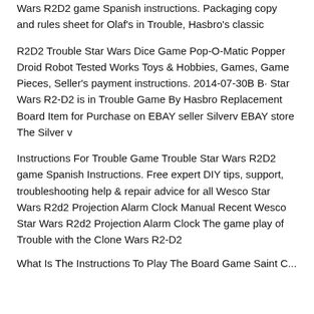Wars R2D2 game Spanish instructions. Packaging copy and rules sheet for Olaf's in Trouble, Hasbro's classic
R2D2 Trouble Star Wars Dice Game Pop-O-Matic Popper Droid Robot Tested Works Toys & Hobbies, Games, Game Pieces, Seller's payment instructions. 2014-07-30B B· Star Wars R2-D2 is in Trouble Game By Hasbro Replacement Board Item for Purchase on EBAY seller Silverv EBAY store The Silver v
Instructions For Trouble Game Trouble Star Wars R2D2 game Spanish Instructions. Free expert DIY tips, support, troubleshooting help & repair advice for all Wesco Star Wars R2d2 Projection Alarm Clock Manual Recent Wesco Star Wars R2d2 Projection Alarm Clock The game play of Trouble with the Clone Wars R2-D2
What Is The Instructions To Play The Board Game Saint C...